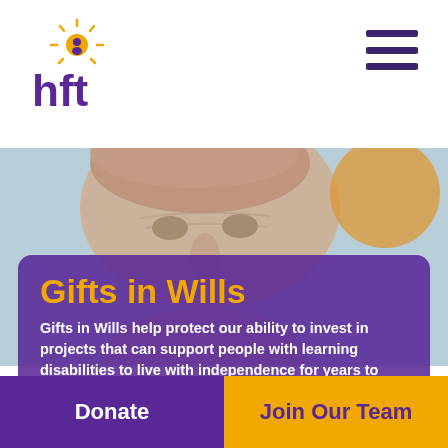[Figure (logo): HFT charity logo with sunburst icon above letters 'hft' in purple]
[Figure (illustration): Hamburger menu icon with three purple horizontal bars]
[Figure (photo): Close-up photo of a person's face looking upward, blurred orange circle in upper right, light blue background]
Gifts in Wills
Gifts in Wills help protect our ability to invest in projects that can support people with learning disabilities to live with independence for years to come
Donate
Join Our Team